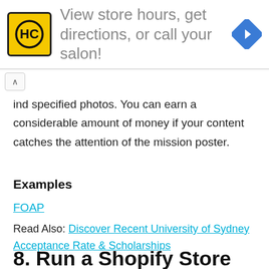[Figure (logo): Advertisement banner: HC logo in yellow square, text 'View store hours, get directions, or call your salon!' in gray, blue diamond navigation icon on right]
ind specified photos. You can earn a considerable amount of money if your content catches the attention of the mission poster.
Examples
FOAP
Read Also: Discover Recent University of Sydney Acceptance Rate & Scholarships
8. Run a Shopify Store From